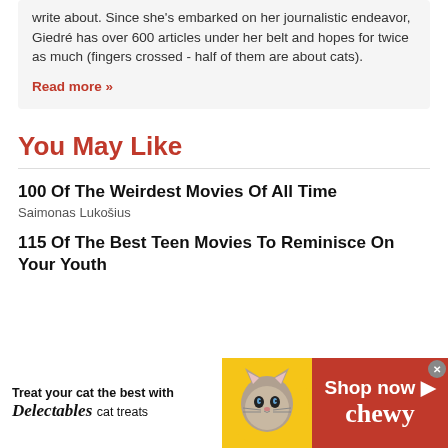write about. Since she's embarked on her journalistic endeavor, Giedré has over 600 articles under her belt and hopes for twice as much (fingers crossed - half of them are about cats).
Read more »
You May Like
100 Of The Weirdest Movies Of All Time
Saimonas Lukošius
115 Of The Best Teen Movies To Reminisce On Your Youth
[Figure (illustration): Advertisement banner for Chewy pet store featuring Delectables cat treats. Left side shows 'Treat your cat the best with Delectables cat treats' in black text on white background. Center features a circular yellow design with a cat photo. Right side is red with 'Shop now' and 'chewy' in white text.]